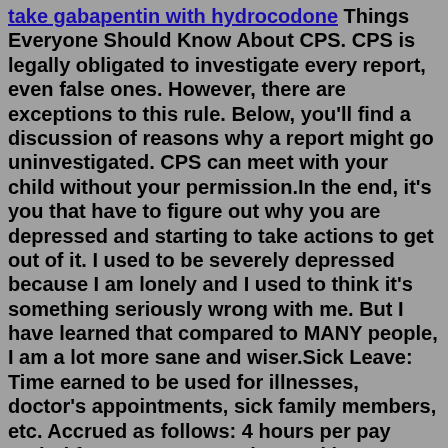take gabapentin with hydrocodone Things Everyone Should Know About CPS. CPS is legally obligated to investigate every report, even false ones. However, there are exceptions to this rule. Below, you'll find a discussion of reasons why a report might go uninvestigated. CPS can meet with your child without your permission.In the end, it's you that have to figure out why you are depressed and starting to take actions to get out of it. I used to be severely depressed because I am lonely and I used to think it's something seriously wrong with me. But I have learned that compared to MANY people, I am a lot more sane and wiser.Sick Leave: Time earned to be used for illnesses, doctor's appointments, sick family members, etc. Accrued as follows: 4 hours per pay period for everyone; Can be used in 15-minute increments; and, Must be approved in advance whenever possible. Holidays: If you are a full time employee you are excused from work, with pay, for the legal holidays.Mar 21, 2012 · So at the end we see her